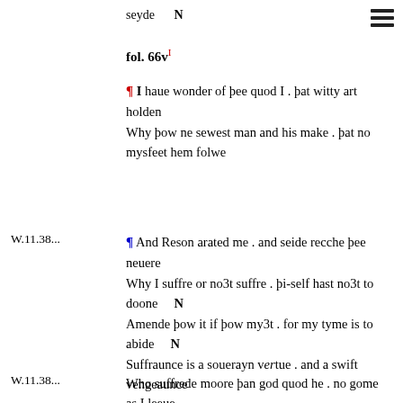seyde    N
fol. 66v I
¶ I haue wonder of þee quod I . þat witty art holden
Why þow ne sewest man and his make . þat no mysfeet hem folwe
W.11.38...
¶ And Reson arated me . and seide recche þee neuere
Why I suffre or no3t suffre . þi-self hast no3t to doone    N
Amende þow it if þow my3t . for my tyme is to abide    N
Suffraunce is a souerayn vertue . and a swift vengeaunce
W.11.38...
Who suffrede moore þan god quod he . no gome as I leeue